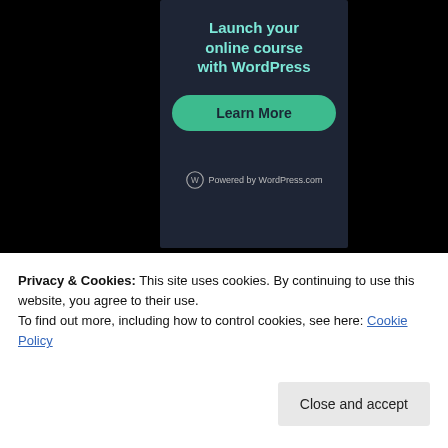[Figure (advertisement): Dark blue ad banner for WordPress online course with teal text reading 'Launch your online course with WordPress', a green Learn More button, and 'Powered by WordPress.com' footer]
REPORT THIS AD
Advertisements
[Figure (advertisement): Red Longreads advertisement banner with white circle logo containing 'L' and text 'LONGREADS' with decorative dashes]
Privacy & Cookies: This site uses cookies. By continuing to use this website, you agree to their use.
To find out more, including how to control cookies, see here: Cookie Policy